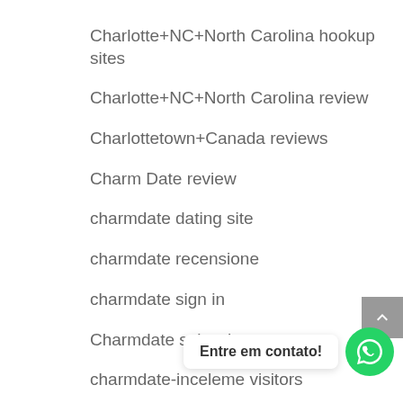Charlotte+NC+North Carolina hookup sites
Charlotte+NC+North Carolina review
Charlottetown+Canada reviews
Charm Date review
charmdate dating site
charmdate recensione
charmdate sign in
Charmdate sul web
charmdate-inceleme visitors
charmdate-overzicht Dating
chat avenue gr… (partially obscured)
Chat Avenue gratis tegoeden
chat avenue hookup site (partially cut off)
Entre em contato!